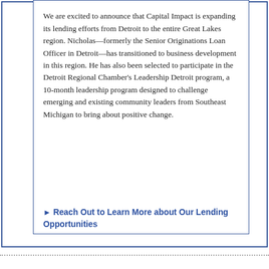We are excited to announce that Capital Impact is expanding its lending efforts from Detroit to the entire Great Lakes region. Nicholas—formerly the Senior Originations Loan Officer in Detroit—has transitioned to business development in this region. He has also been selected to participate in the Detroit Regional Chamber's Leadership Detroit program, a 10-month leadership program designed to challenge emerging and existing community leaders from Southeast Michigan to bring about positive change.
► Reach Out to Learn More about Our Lending Opportunities